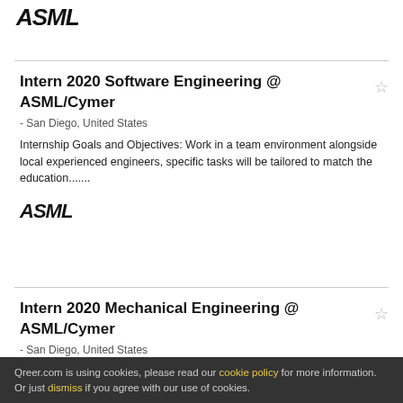ASML
Intern 2020 Software Engineering @ ASML/Cymer
- San Diego, United States
Internship Goals and Objectives: Work in a team environment alongside local experienced engineers, specific tasks will be tailored to match the education.......
[Figure (logo): ASML company logo in bold italic black text]
Intern 2020 Mechanical Engineering @ ASML/Cymer
- San Diego, United States
Internship Goals and Objectives: Work in the team
Qreer.com is using cookies, please read our cookie policy for more information. Or just dismiss if you agree with our use of cookies.